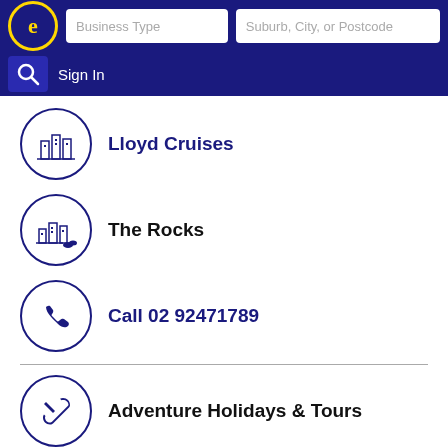[Figure (screenshot): Top navigation header with logo, search fields for Business Type and Suburb/City/Postcode, and Sign In button on dark blue background]
Lloyd Cruises
The Rocks
Call 02 92471789
Adventure Holidays & Tours
↳ More results nearby or related categories
Adventure Tours The Rocks NSW
Bus & Coach Charter The Rocks NSW